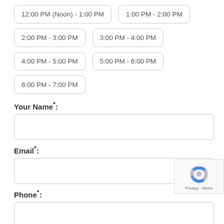12:00 PM (Noon) - 1:00 PM
1:00 PM - 2:00 PM
2:00 PM - 3:00 PM
3:00 PM - 4:00 PM
4:00 PM - 5:00 PM
5:00 PM - 6:00 PM
6:00 PM - 7:00 PM
Your Name*:
Email*:
Phone*:
Property Ref: